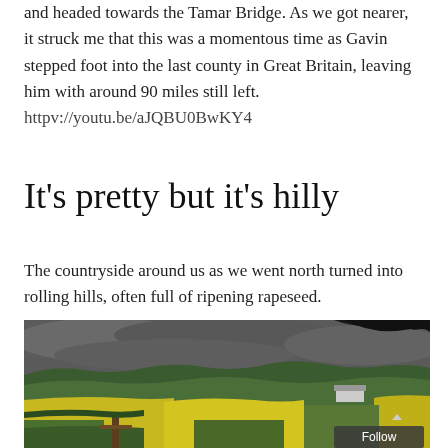and headed towards the Tamar Bridge. As we got nearer, it struck me that this was a momentous time as Gavin stepped foot into the last county in Great Britain, leaving him with around 90 miles still left.
httpv://youtu.be/aJQBU0BwKY4
It's pretty but it's hilly
The countryside around us as we went north turned into rolling hills, often full of ripening rapeseed.
[Figure (photo): Landscape photograph of rolling hills with bright yellow rapeseed fields under a dramatic overcast grey sky, with green fields, hedgerows, trees, a wooden fence post in the foreground, and farm buildings in the distance.]